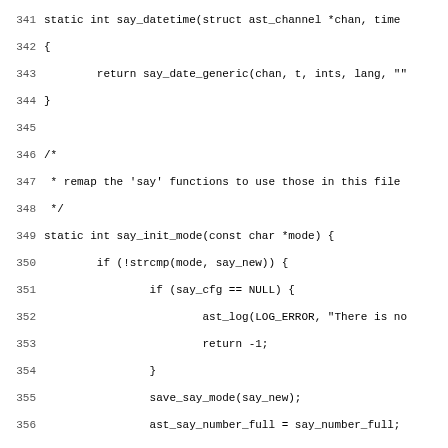[Figure (screenshot): Source code listing in monospace font showing C code lines 341-372, with line numbers on the left and code on the right. The code shows functions say_datetime and say_init_mode with various assignments and conditionals.]